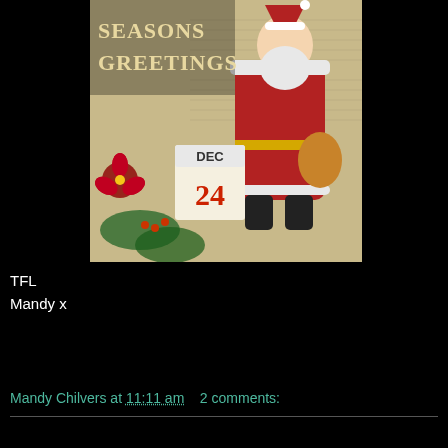[Figure (illustration): Vintage Christmas card illustration showing Santa Claus in a red coat carrying toys and gifts, with 'SEASONS GREETINGS' text at the top left and a calendar showing DEC 24. Red poinsettia flowers and greenery in the foreground.]
TFL
Mandy x
Mandy Chilvers at 11:11 am   2 comments: